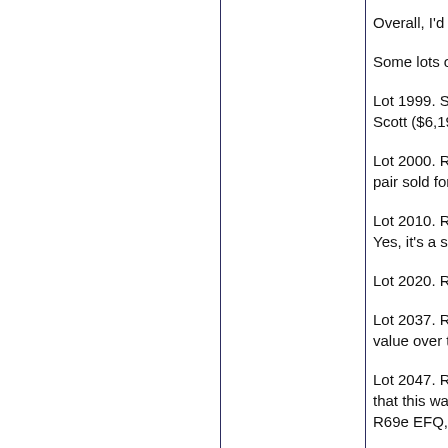Overall, I'd imag...
Some lots of no...
Lot 1999. Scott... Scott ($6,195 in...
Lot 2000. R16b.... pair sold for less...
Lot 2010. R25b.... Yes, it's a scarc...
Lot 2020. R34b....
Lot 2037. R60b.... value over the la...
Lot 2047. R69e.... that this was NC... R69e EFQ, this...